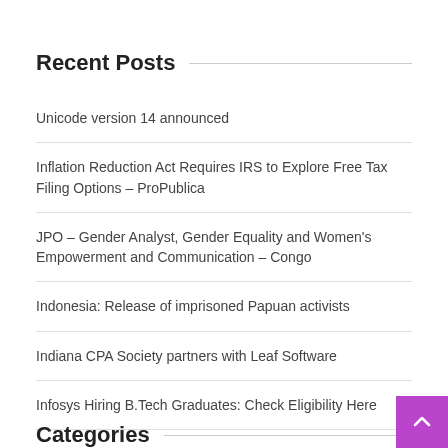Recent Posts
Unicode version 14 announced
Inflation Reduction Act Requires IRS to Explore Free Tax Filing Options – ProPublica
JPO – Gender Analyst, Gender Equality and Women's Empowerment and Communication – Congo
Indonesia: Release of imprisoned Papuan activists
Indiana CPA Society partners with Leaf Software
Infosys Hiring B.Tech Graduates: Check Eligibility Here
Categories